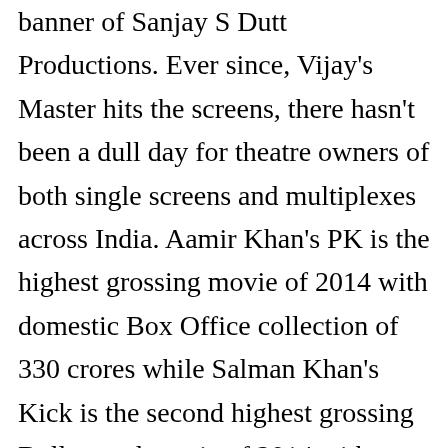banner of Sanjay S Dutt Productions. Ever since, Vijay's Master hits the screens, there hasn't been a dull day for theatre owners of both single screens and multiplexes across India. Aamir Khan's PK is the highest grossing movie of 2014 with domestic Box Office collection of 330 crores while Salman Khan's Kick is the second highest grossing Bollywood movie of 2014 with domestic Box Office collection of 233 crores. Actor Vijay and Vijay Sethupathi's Master the highly anticipated film is doing unstoppable at the box office.